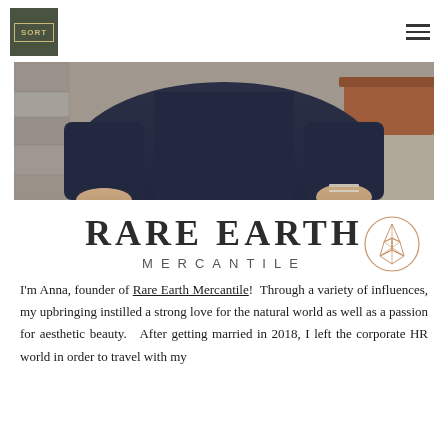SORT [logo] [hamburger menu]
[Figure (photo): Cropped photo of a person wearing a navy blue long-sleeve top, with stone architecture in background and a terracotta pot visible, bracelets on wrist]
RARE EARTH MERCANTILE
[Figure (logo): Circular crystal/gemstone line-art logo for Rare Earth Mercantile, drawn in rose gold/copper color]
I'm Anna, founder of Rare Earth Mercantile!  Through a variety of influences, my upbringing instilled a strong love for the natural world as well as a passion for aesthetic beauty.   After getting married in 2018, I left the corporate HR world in order to travel with my